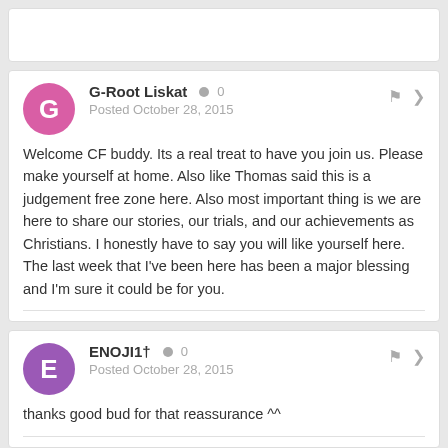(top partial card, content not visible)
G-Root Liskat  0
Posted October 28, 2015
Welcome CF buddy. Its a real treat to have you join us. Please make yourself at home. Also like Thomas said this is a judgement free zone here. Also most important thing is we are here to share our stories, our trials, and our achievements as Christians. I honestly have to say you will like yourself here. The last week that I've been here has been a major blessing and I'm sure it could be for you.
ENOJI1t  0
Posted October 28, 2015
thanks good bud for that reassurance ^^
(bottom partial card)